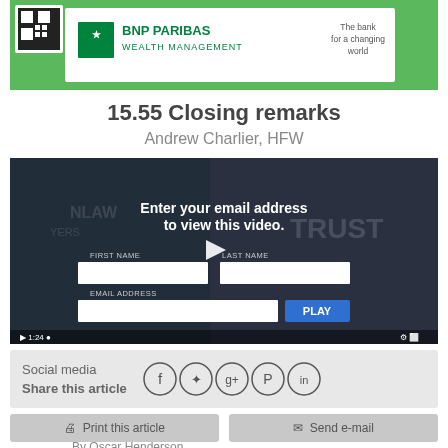[Figure (logo): BNP Paribas Wealth Management banner with green background, QR code on left, logo in center, and tagline 'The bank for a changing world' on right]
15.55 Closing remarks
Andrew Charlier, HFW
[Figure (screenshot): Video player screenshot showing a person in a dark suit, with an email gate overlay reading 'Enter your email address to view this video.' with fields for First Name, Last Name, Email Address and a PLAY button. Background shows conference signage with TRUST and other text visible.]
Social media
Share this article
[Figure (infographic): Social media sharing icons: Facebook, Twitter, Google+, Pinterest, LinkedIn]
Print this article   Send e-mail
By Oscar Henderson